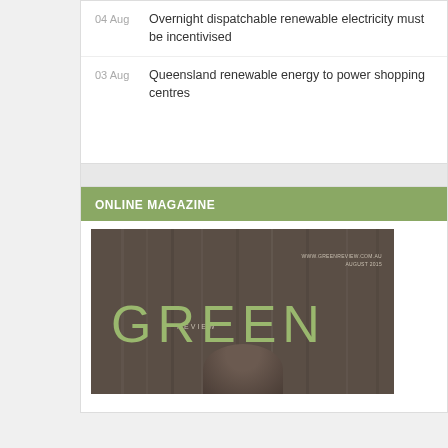04 Aug — Overnight dispatchable renewable electricity must be incentivised
03 Aug — Queensland renewable energy to power shopping centres
ONLINE MAGAZINE
[Figure (photo): Green Review online magazine cover with dark wood-grain background, large GREEN text in olive/sage colour with REVIEW in smaller text, website URL top right, and partial image of a person's head at the bottom.]